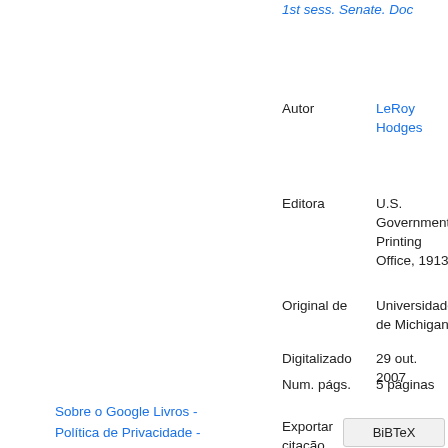1st sess. Senate. Doc
Autor: LeRoy Hodges
Editora: U.S. Government Printing Office, 1913
Original de: Universidade de Michigan
Digitalizado: 29 out. 2007
Num. págs.: 5 páginas
Exportar citação
BiBTeX
EndNote
RefMan
Sobre o Google Livros - Política de Privacidade -